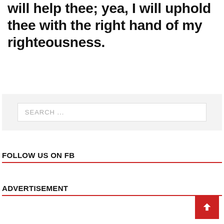will help thee; yea, I will uphold thee with the right hand of my righteousness.
[Figure (screenshot): Search input box with placeholder text 'SEARCH ...' on a light gray background]
FOLLOW US ON FB
ADVERTISEMENT